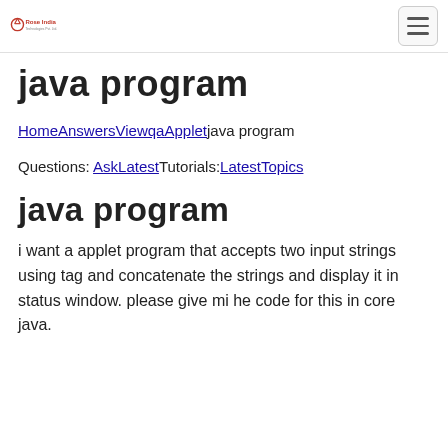Rose India [logo] | hamburger menu
java program
HomeAnswersViewqaAppletjava program
Questions: AskLatestTutorials:LatestTopics
java program
i want a applet program that accepts two input strings using tag and concatenate the strings and display it in status window. please give mi he code for this in core java.